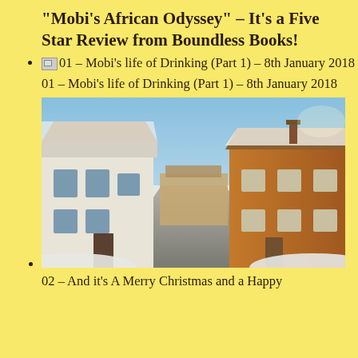"Mobi's African Odyssey" – It's a Five Star Review from Boundless Books!
01 – Mobi's life of Drinking (Part 1) – 8th January 2018
01 – Mobi's life of Drinking (Part 1) – 8th January 2018
[Figure (photo): A snowy English village street with old thatched and brick cottages on both sides, clear blue sky, road covered in snow, warm sunlight on right side buildings.]
02 – And it's A Merry Christmas and a Happy